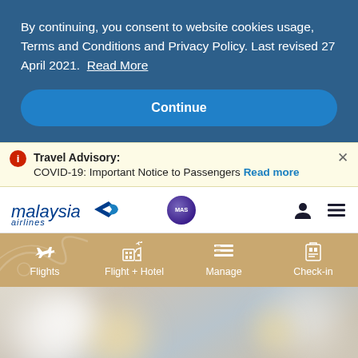By continuing, you consent to website cookies usage, Terms and Conditions and Privacy Policy. Last revised 27 April 2021. Read More
Continue
Travel Advisory: COVID-19: Important Notice to Passengers Read more
[Figure (logo): Malaysia Airlines logo with blue stylized aircraft and text, alongside a purple MAS circle badge, user icon, and hamburger menu icon]
[Figure (infographic): Navigation menu bar with golden/tan background showing four icons with labels: Flights, Flight + Hotel, Manage, Check-in]
[Figure (photo): Blurred bokeh hero image with soft white and golden light circles on a warm background, partially visible]